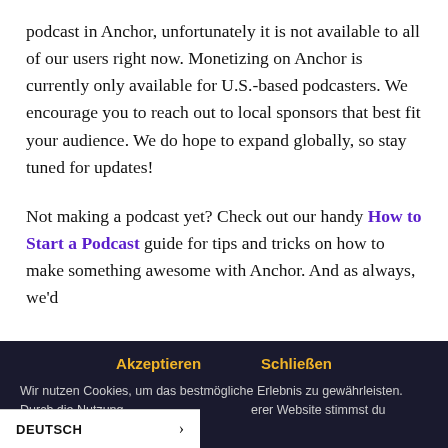podcast in Anchor, unfortunately it is not available to all of our users right now. Monetizing on Anchor is currently only available for U.S.-based podcasters. We encourage you to reach out to local sponsors that best fit your audience. We do hope to expand globally, so stay tuned for updates!
Not making a podcast yet? Check out our handy How to Start a Podcast guide for tips and tricks on how to make something awesome with Anchor. And as always, we'd
Akzeptieren   Schließen
Wir nutzen Cookies, um das bestmögliche Erlebnis zu gewährleisten. Durch die Nutzung unserer Website stimmst du unserer Datenschutzrichtlinie zu.
DEUTSCH >